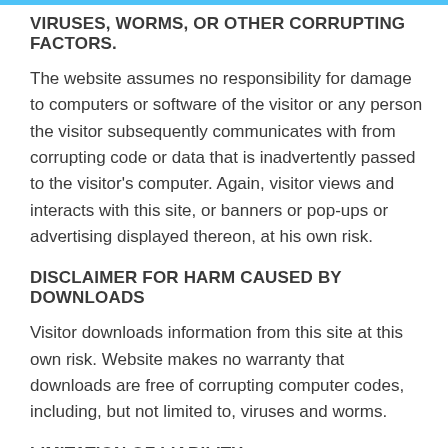VIRUSES, WORMS, OR OTHER CORRUPTING FACTORS.
The website assumes no responsibility for damage to computers or software of the visitor or any person the visitor subsequently communicates with from corrupting code or data that is inadvertently passed to the visitor’s computer. Again, visitor views and interacts with this site, or banners or pop-ups or advertising displayed thereon, at his own risk.
DISCLAIMER FOR HARM CAUSED BY DOWNLOADS
Visitor downloads information from this site at this own risk. Website makes no warranty that downloads are free of corrupting computer codes, including, but not limited to, viruses and worms.
LIMITATION OF LIABILITY